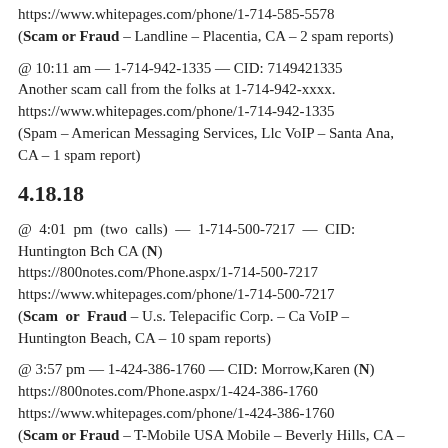https://www.whitepages.com/phone/1-714-585-5578
(Scam or Fraud – Landline – Placentia, CA – 2 spam reports)
@ 10:11 am — 1-714-942-1335 — CID: 7149421335
Another scam call from the folks at 1-714-942-xxxx.
https://www.whitepages.com/phone/1-714-942-1335
(Spam – American Messaging Services, Llc VoIP – Santa Ana, CA – 1 spam report)
4.18.18
@ 4:01 pm (two calls) — 1-714-500-7217 — CID: Huntington Bch CA (N)
https://800notes.com/Phone.aspx/1-714-500-7217
https://www.whitepages.com/phone/1-714-500-7217
(Scam or Fraud – U.s. Telepacific Corp. – Ca VoIP – Huntington Beach, CA – 10 spam reports)
@ 3:57 pm — 1-424-386-1760 — CID: Morrow,Karen (N)
https://800notes.com/Phone.aspx/1-424-386-1760
https://www.whitepages.com/phone/1-424-386-1760
(Scam or Fraud – T-Mobile USA Mobile – Beverly Hills, CA –